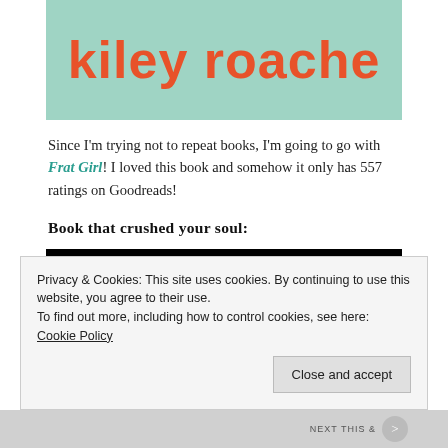[Figure (illustration): Book cover showing 'kiley roache' in large orange text on a teal/mint green background]
Since I'm trying not to repeat books, I'm going to go with Frat Girl! I loved this book and somehow it only has 557 ratings on Goodreads!
Book that crushed your soul:
[Figure (illustration): Book cover showing 'FIONA STAPLES   BRIAN K. VAUGHAN' in white text on black background, with green hair visible at the bottom]
Privacy & Cookies: This site uses cookies. By continuing to use this website, you agree to their use.
To find out more, including how to control cookies, see here: Cookie Policy
Close and accept